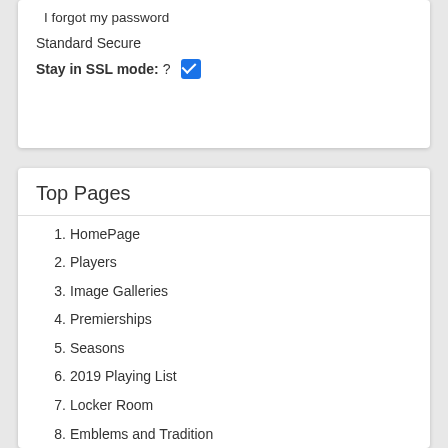I forgot my password
Standard Secure
Stay in SSL mode:? ☑
Top Pages
1. HomePage
2. Players
3. Image Galleries
4. Premierships
5. Seasons
6. 2019 Playing List
7. Locker Room
8. Emblems and Tradition
9. Formation of the Club
10. Guernsey History
11. Pre VFL Players
12. The National Draft
13. Club Song
14. Princes Park
15. Alex Jesaulenko
16. Season Galleries
17. Mark Maclure